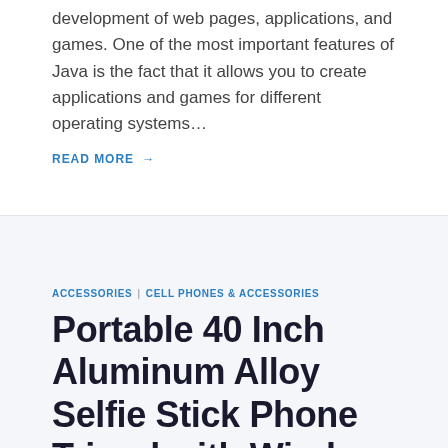development of web pages, applications, and games. One of the most important features of Java is the fact that it allows you to create applications and games for different operating systems…
READ MORE →
ACCESSORIES | CELL PHONES & ACCESSORIES
Portable 40 Inch Aluminum Alloy Selfie Stick Phone Tripod with Wireless